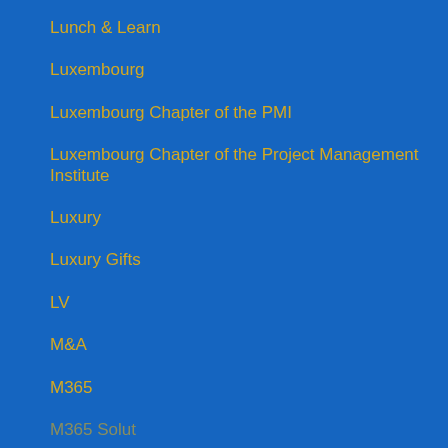Lunch & Learn
Luxembourg
Luxembourg Chapter of the PMI
Luxembourg Chapter of the Project Management Institute
Luxury
Luxury Gifts
LV
M&A
M365
M365 Solutions